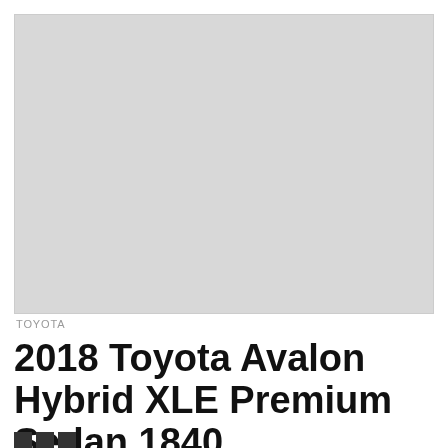[Figure (photo): Light gray placeholder rectangle representing a vehicle photo area]
TOYOTA
2018 Toyota Avalon Hybrid XLE Premium Sedan 1840